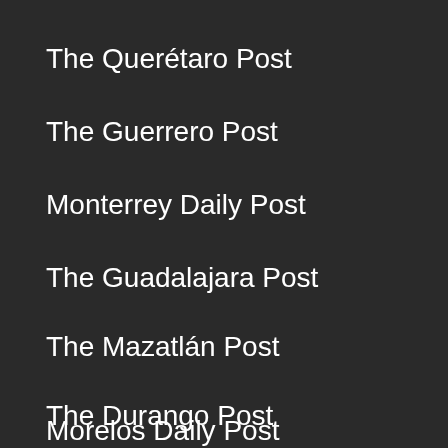The Querétaro Post
The Guerrero Post
Monterrey Daily Post
The Guadalajara Post
The Mazatlán Post
The Durango Post
Morelos Daily Post